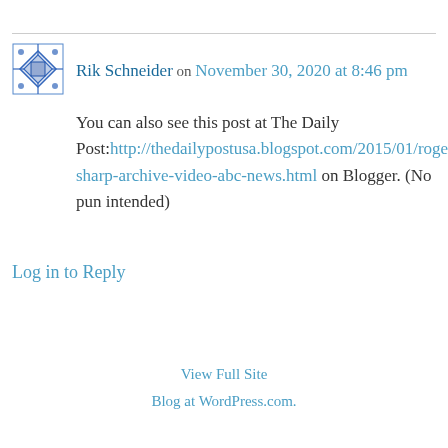[Figure (illustration): Small avatar icon — a blue and white geometric/quilt pattern square icon]
Rik Schneider on November 30, 2020 at 8:46 pm
You can also see this post at The Daily Post:http://thedailypostusa.blogspot.com/2015/01/roger-sharp-archive-video-abc-news.html on Blogger. (No pun intended)
Log in to Reply
View Full Site
Blog at WordPress.com.